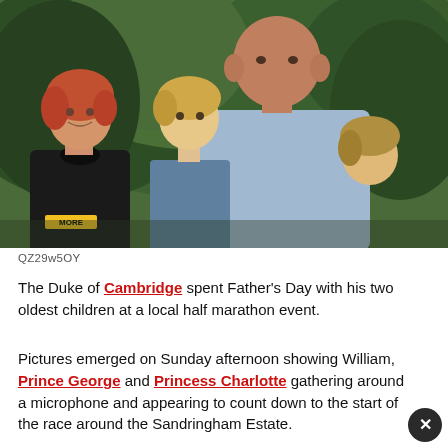[Figure (photo): Outdoor photo showing a red-haired woman in a black hoodie on the left smiling, and in the center a bald man leaning down cheek-to-cheek with two young children, with dense green trees in the background.]
QZ29w5OY
The Duke of Cambridge spent Father's Day with his two oldest children at a local half marathon event.
Pictures emerged on Sunday afternoon showing William, Prince George and Princess Charlotte gathering around a microphone and appearing to count down to the start of the race around the Sandringham Estate.